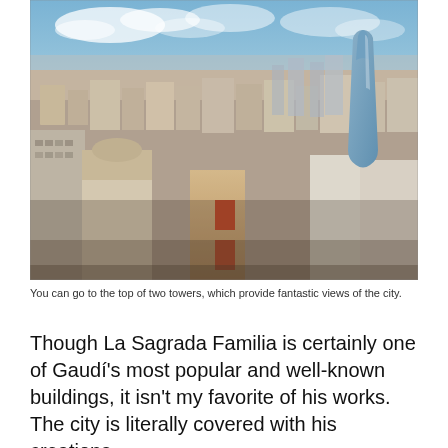[Figure (photo): Aerial cityscape view of Barcelona showing dense urban buildings, rooftops with terracotta tiles, a modern glass skyscraper (Torre Agbar/Torre Glòries) in the upper right, and a blue sky with clouds in the background.]
You can go to the top of two towers, which provide fantastic views of the city.
Though La Sagrada Familia is certainly one of Gaudi's most popular and well-known buildings, it isn't my favorite of his works. The city is literally covered with his creations